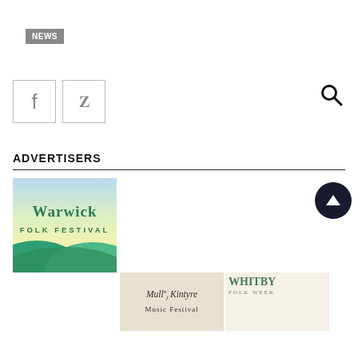NEWS
[Figure (logo): Facebook icon in a square border]
[Figure (logo): Vimeo icon in a square border]
[Figure (other): Search magnifier icon]
ADVERTISERS
[Figure (photo): Warwick Folk Festival logo with teal text on gradient sky/hill background]
[Figure (logo): Mull of Kintyre Music Festival logo]
[Figure (logo): Whitby Folk Week logo]
[Figure (other): Back to top scroll button, dark circle with upward triangle]